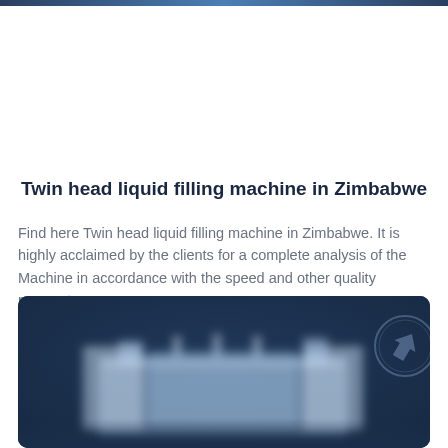Twin head liquid filling machine in Zimbabwe
Find here Twin head liquid filling machine in Zimbabwe. It is highly acclaimed by the clients for a complete analysis of the Machine in accordance with the speed and other quality parameters.
[Figure (photo): Dark navy blue background product photo of a twin head liquid filling machine with a blurred/bokeh style, featuring a circular logo/watermark in the upper right corner]